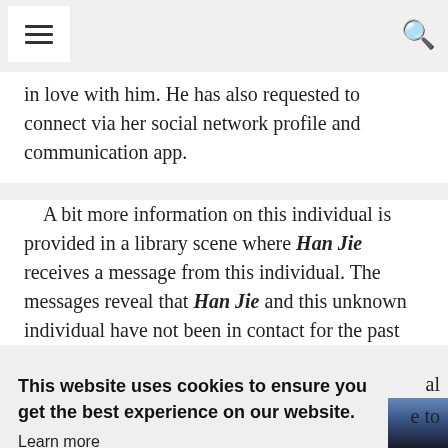Navigation bar with hamburger menu and search icon
in love with him. He has also requested to connect via her social network profile and communication app.
A bit more information on this individual is provided in a library scene where Han Jie receives a message from this individual. The messages reveal that Han Jie and this unknown individual have not been in contact for the past
This website uses cookies to ensure you get the best experience on our website. Learn more Got it!
[Figure (photo): Partial photo of a person at the bottom of the page]